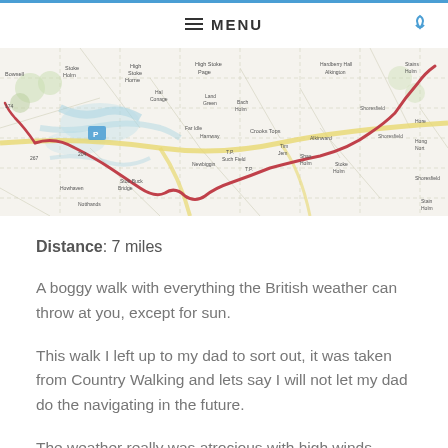MENU
[Figure (map): Topographic walking route map showing a red route line passing through Newbiggin area with place names including Hardberry Hall, Alkington, Shoresfield, Stoke Lees, and other local landmarks. Map shows roads, field boundaries, and terrain features.]
Distance: 7 miles
A boggy walk with everything the British weather can throw at you, except for sun.
This walk I left up to my dad to sort out, it was taken from Country Walking and lets say I will not let my dad do the navigating in the future.
The weather really was atrocious with high winds, rain...